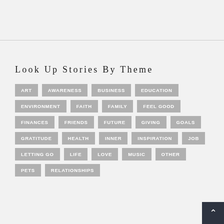Look Up Stories by theme
ART
AWARENESS
BUSINESS
EDUCATION
ENVIRONMENT
FAITH
FAMILY
FEEL GOOD
FINANCES
FRIENDS
FUTURE
GIVING
GOALS
GRATITUDE
HEALTH
INNER
INSPIRATION
JOB
LETTING GO
LIFE
LOVE
MUSIC
OTHER
PETS
RELATIONSHIPS